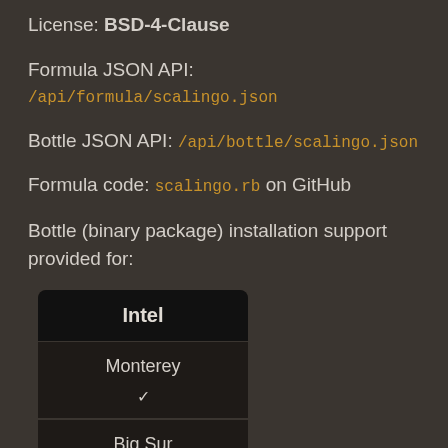License: BSD-4-Clause
Formula JSON API: /api/formula/scalingo.json
Bottle JSON API: /api/bottle/scalingo.json
Formula code: scalingo.rb on GitHub
Bottle (binary package) installation support provided for:
| Intel |
| --- |
| Monterey |
| ✓ |
| Big Sur |
| ✓ |